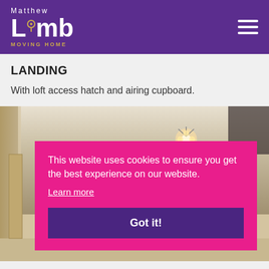[Figure (logo): Matthew Limb Moving Home logo — white text on purple background with location pin icon in the L]
LANDING
With loft access hatch and airing cupboard.
[Figure (photo): Interior room photo showing ceiling with spotlight fitting and a corner of the room with door]
This website uses cookies to ensure you get the best experience on our website. Learn more Got it!